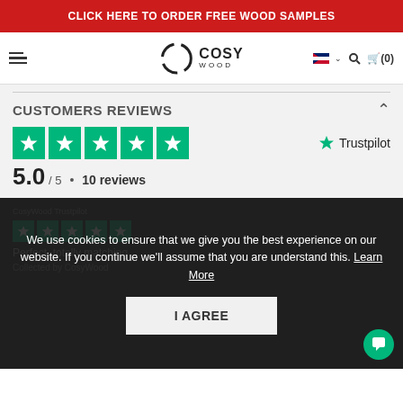CLICK HERE TO ORDER FREE WOOD SAMPLES
[Figure (logo): CosyWood logo with hamburger menu, UK flag language selector, search icon, and cart icon showing (0)]
CUSTOMERS REVIEWS
[Figure (infographic): Trustpilot 5-star rating widget showing 5 green stars, score 5.0/5, 10 reviews]
5.0 / 5 • 10 reviews
We use cookies to ensure that we give you the best experience on our website. If you continue we'll assume that you are understand this. Learn More
I AGREE
Perfect, totally matching
Collected by CosyWood